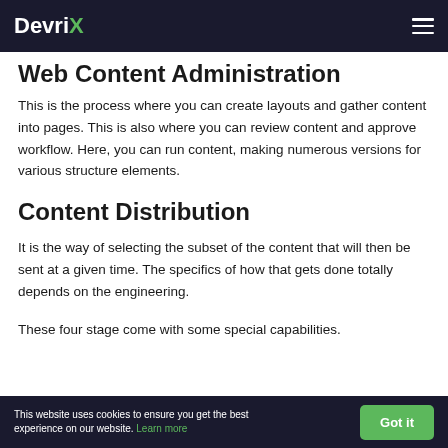DevriX
Web Content Administration
This is the process where you can create layouts and gather content into pages. This is also where you can review content and approve workflow. Here, you can run content, making numerous versions for various structure elements.
Content Distribution
It is the way of selecting the subset of the content that will then be sent at a given time. The specifics of how that gets done totally depends on the engineering.
These four stage come with some special capabilities.
This website uses cookies to ensure you get the best experience on our website. Learn more   Got it